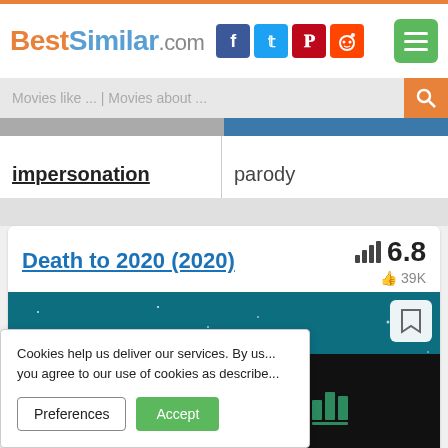BestSimilar.com
Movies like ... | Movies about ...
impersonation
parody
Death to 2020 (2020)
6.8
39K
[Figure (screenshot): Movie thumbnail for Death to 2020 showing a teal space scene with Earth]
Cookies help us deliver our services. By us... you agree to our use of cookies as describe...
Preferences
Accept